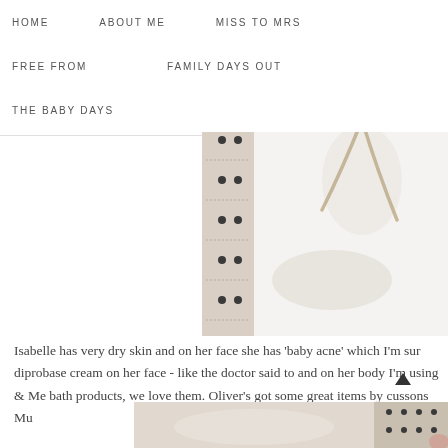HOME  ABOUT ME  MISS TO MRS  FREE FROM  FAMILY DAYS OUT  THE BABY DAYS
[Figure (photo): Close-up photo of a baby wearing a white fluffy outfit, lying next to a patterned fabric]
Isabelle has very dry skin and on her face she has 'baby acne' which I'm sur diprobase cream on her face - like the doctor said to and on her body I'm using & Me bath products, we love them. Oliver's got some great items by cussons Mu
[Figure (photo): Partial view of another baby photo at the bottom of the page]